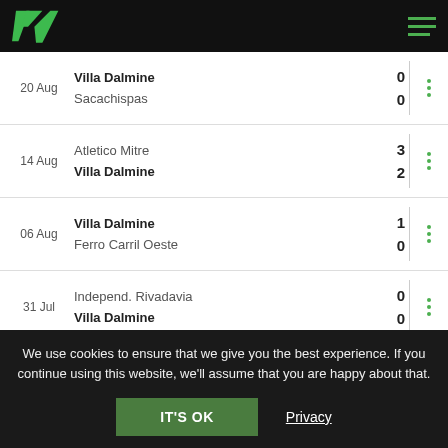BT logo and navigation
20 Aug – Villa Dalmine 0 vs Sacachispas 0
14 Aug – Atletico Mitre 3 vs Villa Dalmine 2
06 Aug – Villa Dalmine 1 vs Ferro Carril Oeste 0
31 Jul – Independ. Rivadavia 0 vs Villa Dalmine 0
ODDS FOR ALMIRANTE BROWN VS VILLA DALMINE
We use cookies to ensure that we give you the best experience. If you continue using this website, we'll assume that you are happy about that.
IT'S OK
Privacy